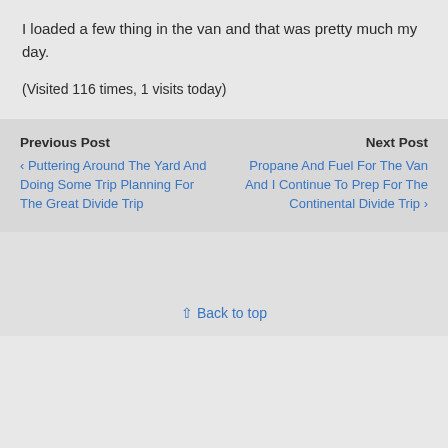I loaded a few thing in the van and that was pretty much my day.
(Visited 116 times, 1 visits today)
Previous Post
‹ Puttering Around The Yard And Doing Some Trip Planning For The Great Divide Trip
Next Post
Propane And Fuel For The Van And I Continue To Prep For The Continental Divide Trip ›
⇧ Back to top